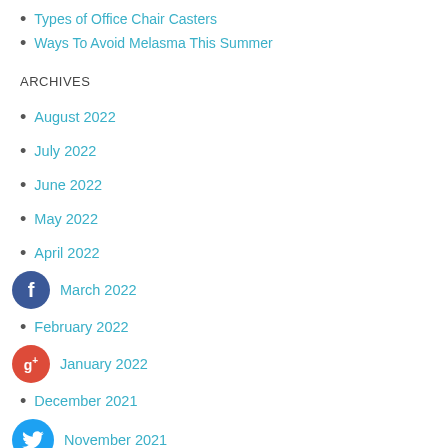Types of Office Chair Casters
Ways To Avoid Melasma This Summer
ARCHIVES
August 2022
July 2022
June 2022
May 2022
April 2022
March 2022
February 2022
January 2022
December 2021
November 2021
October 2021
September 2021
August 2021
July 2021
June 2021